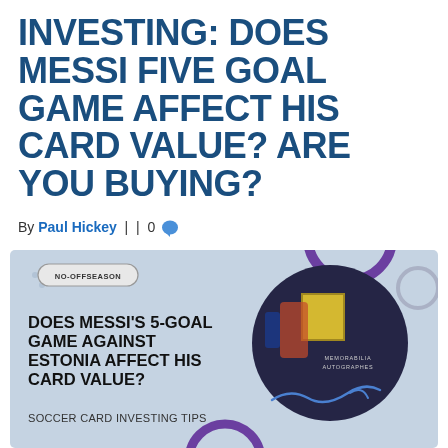INVESTING: DOES MESSI FIVE GOAL GAME AFFECT HIS CARD VALUE? ARE YOU BUYING?
By Paul Hickey | | 0
[Figure (illustration): Promotional image with light blue/grey background showing a trading card with Messi memorabilia autograph card in a circular frame. Text overlay reads: 'DOES MESSI'S 5-GOAL GAME AGAINST ESTONIA AFFECT HIS CARD VALUE?' and 'SOCCER CARD INVESTING TIPS'. No-Offseason logo in upper left.]